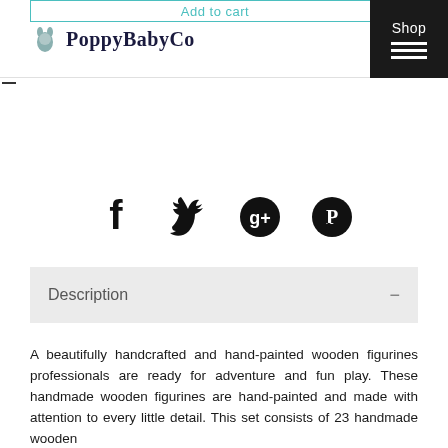Add to cart | PoppyBabyCo | Shop
[Figure (logo): PoppyBabyCo logo with small baby/animal icon and bold serif text]
[Figure (infographic): Social media icons row: Facebook, Twitter, Google+, Pinterest]
Description
A beautifully handcrafted and hand-painted wooden figurines professionals are ready for adventure and fun play. These handmade wooden figurines are hand-painted and made with attention to every little detail. This set consists of 23 handmade wooden